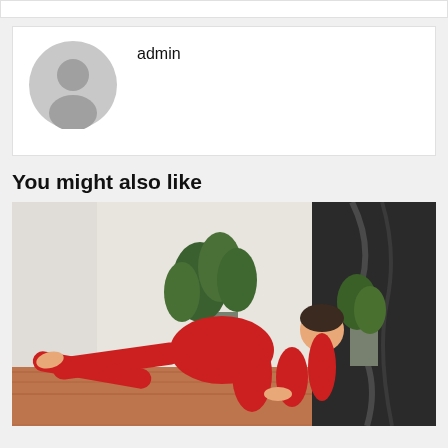[Figure (other): Top white bar element, partial card at top of page]
[Figure (other): Author profile card with grey default avatar icon and username 'admin']
You might also like
[Figure (photo): Photo of a woman in a red outfit performing a yoga/exercise pose (side leg raise on all fours) on a patterned rug, with potted plants and a white wall in the background]